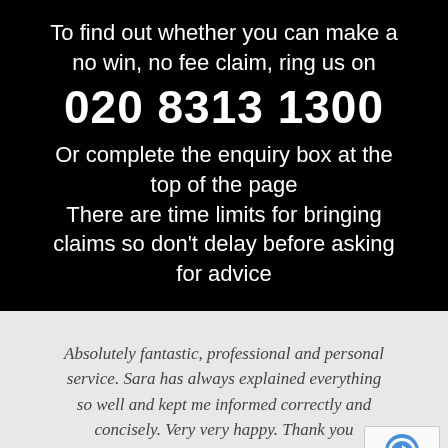To find out whether you can make a no win, no fee claim, ring us on 020 8313 1300 Or complete the enquiry box at the top of the page There are time limits for bringing claims so don't delay before asking for advice
Absolutely fantastic, professional and personal service. Sara has always explained everything so well and kept me informed correctly and concisely. Very very happy. Thank you
Mr Savani, Harrow